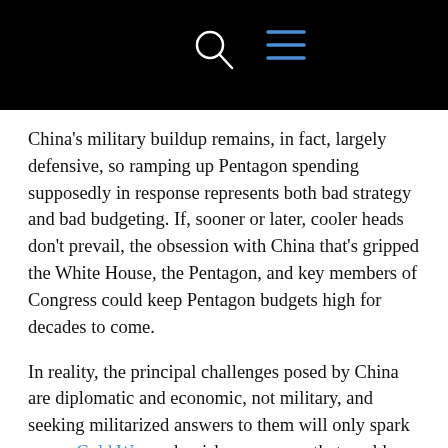[navigation bar with search and menu icons]
China’s military buildup remains, in fact, largely defensive, so ramping up Pentagon spending supposedly in response represents both bad strategy and bad budgeting. If, sooner or later, cooler heads don’t prevail, the obsession with China that’s gripped the White House, the Pentagon, and key members of Congress could keep Pentagon budgets high for decades to come.
In reality, the principal challenges posed by China are diplomatic and economic, not military, and seeking militarized answers to them will only spark a new Cold War and a risky arms race that could make a